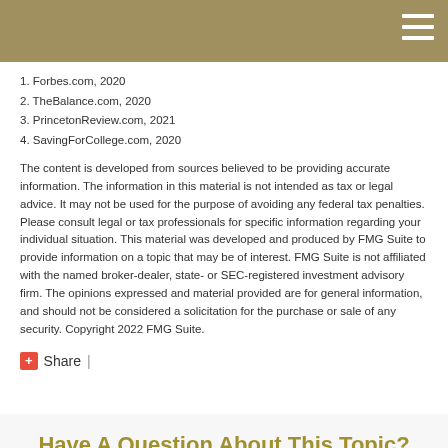1. Forbes.com, 2020
2. TheBalance.com, 2020
3. PrincetonReview.com, 2021
4. SavingForCollege.com, 2020
The content is developed from sources believed to be providing accurate information. The information in this material is not intended as tax or legal advice. It may not be used for the purpose of avoiding any federal tax penalties. Please consult legal or tax professionals for specific information regarding your individual situation. This material was developed and produced by FMG Suite to provide information on a topic that may be of interest. FMG Suite is not affiliated with the named broker-dealer, state- or SEC-registered investment advisory firm. The opinions expressed and material provided are for general information, and should not be considered a solicitation for the purchase or sale of any security. Copyright 2022 FMG Suite.
+ Share |
Have A Question About This Topic?
Name